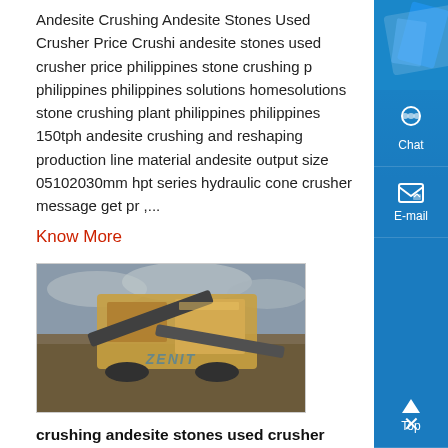Andesite Crushing Andesite Stones Used Crusher Price Crushing andesite stones used crusher price philippines stone crushing philippines philippines solutions homesolutions stone crushing plant philippines philippines 150tph andesite crushing and reshaping production line material andesite output size 05102030mm hpt series hydraulic cone crusher message get price ,...
Know More
[Figure (photo): Photo of a large industrial mobile crusher/screening machine in an open field with overcast sky, with ZENIT watermark]
crushing andesite stones used crusher price philippines html
crushing andesite stones used crusher price philippines html randpic mobile crushing andesite stones used mobile crusher p